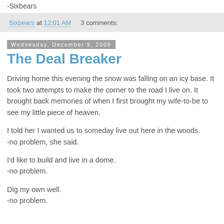-Sixbears
Sixbears at 12:01 AM    3 comments:
Wednesday, December 9, 2009
The Deal Breaker
Driving home this evening the snow was falling on an icy base. It took two attempts to make the corner to the road I live on. It brought back memories of when I first brought my wife-to-be to see my little piece of heaven.
I told her I wanted us to someday live out here in the woods.
-no problem, she said.
I'd like to build and live in a dome.
-no problem.
Dig my own well.
-no problem.